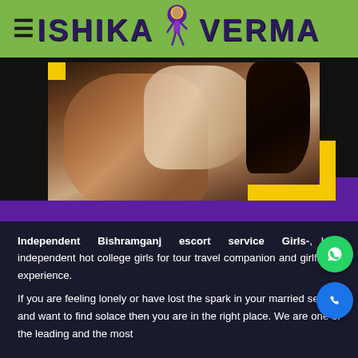ISHIKA VERMA
[Figure (photo): Woman posing, escort service website hero image with decorative yellow and purple corner elements]
Independent Bishramganj escort service Girls-, Hire independent hot college girls for tour travel companion and girlfriend experience.
If you are feeling lonely or have lost the spark in your married sex life and want to find solace then you are in the right place. We are one of the leading and the most